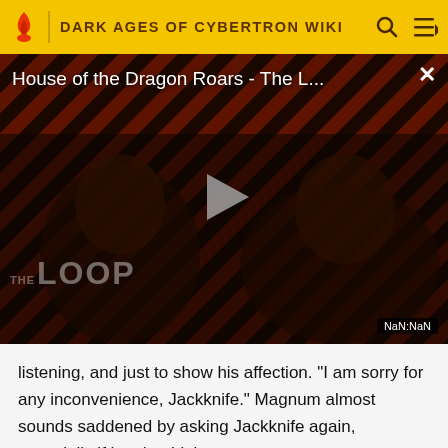DARK AGES OF CYBERTRON WIKI
[Figure (screenshot): Video player showing 'House of the Dragon Roars - The L...' with a play button in the center. Background shows diagonal red and dark stripes with a person's silhouette. Bottom left shows 'THE LOOP' text logo. Bottom right shows 'NaN:NaN' timestamp.]
listening, and just to show his affection. "I am sorry for any inconvenience, Jackknife." Magnum almost sounds saddened by asking Jackknife again, especially if he shouldn't.
...